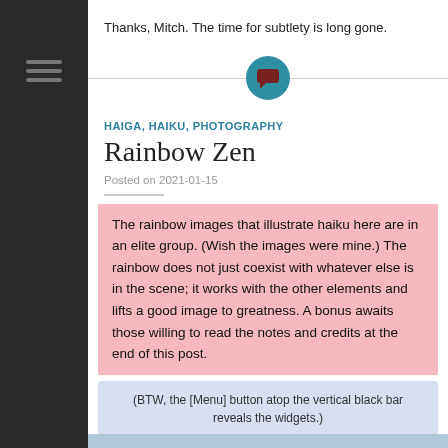Thanks, Mitch.  The time for subtlety is long gone.
[Figure (illustration): Horizontal divider line with a teal circular chat/comment icon centered on it]
HAIGA, HAIKU, PHOTOGRAPHY
Rainbow Zen
Posted on 2021-01-15
The rainbow images that illustrate haiku here are in an elite group.  (Wish the images were mine.)  The rainbow does not just coexist with whatever else is in the scene; it works with the other elements and lifts a good image to greatness.  A bonus awaits those willing to read the notes and credits at the end of this post.
(BTW, the [Menu] button atop the vertical black bar reveals the widgets.)